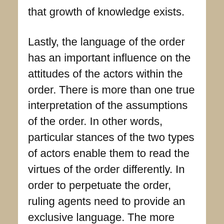that growth of knowledge exists.
Lastly, the language of the order has an important influence on the attitudes of the actors within the order. There is more than one true interpretation of the assumptions of the order. In other words, particular stances of the two types of actors enable them to read the virtues of the order differently. In order to perpetuate the order, ruling agents need to provide an exclusive language. The more exclusive the language is, the more its impact on counter-actors spreads.
After mapping transference, it is possible to apply indications to Holbein's Ambassadors. There are four questions that need to be answered with regards to this work of art before implementing a theoretical framework on it. To enumerate: (1) What is the